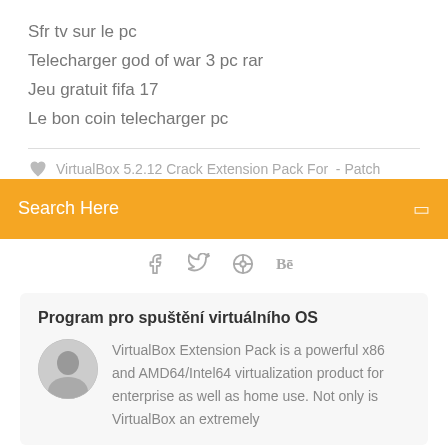Sfr tv sur le pc
Telecharger god of war 3 pc rar
Jeu gratuit fifa 17
Le bon coin telecharger pc
VirtualBox 5.2.12 Crack Extension Pack For - Patch
Search Here
[Figure (infographic): Social media icons: Facebook, Twitter, Dribbble, Behance]
Program pro spuštění virtuálního OS
[Figure (photo): Circular avatar photo of a man]
VirtualBox Extension Pack is a powerful x86 and AMD64/Intel64 virtualization product for enterprise as well as home use. Not only is VirtualBox an extremely